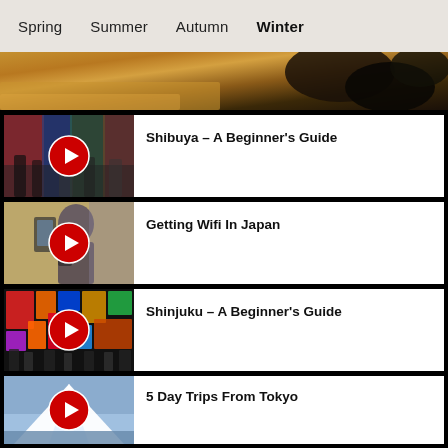Spring   Summer   Autumn   Winter
[Figure (photo): Partial view of a scene, hero banner strip at top of page]
[Figure (photo): Shibuya street scene with play button overlay]
Shibuya - A Beginner's Guide
[Figure (photo): Person using phone, Getting Wifi in Japan video thumbnail with play button overlay]
Getting Wifi In Japan
[Figure (photo): Shinjuku neon lights night scene with play button overlay]
Shinjuku - A Beginner's Guide
[Figure (photo): Mount Fuji scenic photo with play button overlay]
5 Day Trips From Tokyo